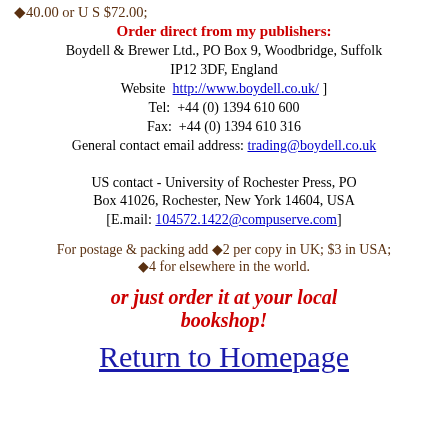◆40.00 or U S $72.00;
Order direct from my publishers:
Boydell & Brewer Ltd., PO Box 9, Woodbridge, Suffolk IP12 3DF, England
Website  http://www.boydell.co.uk/ ]
Tel:  +44 (0) 1394 610 600
Fax:  +44 (0) 1394 610 316
General contact email address: trading@boydell.co.uk
US contact -  University of Rochester Press, PO Box 41026, Rochester, New York 14604, USA [E.mail: 104572.1422@compuserve.com]
For postage & packing add ◆2 per copy in UK; $3 in USA; ◆4 for elsewhere in the world.
or just order it at your local bookshop!
Return to Homepage